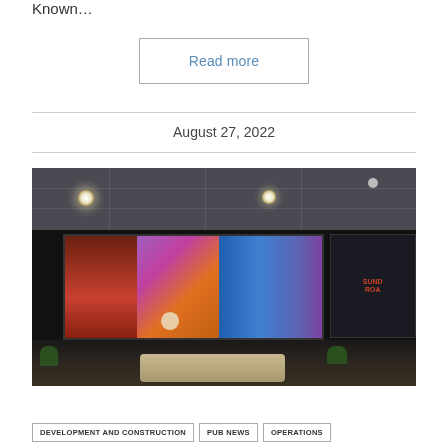Known...
Read more
August 27, 2022
[Figure (photo): Interior of a pub/sports bar with a large video wall showing multiple TV screens including a cricket/sports studio broadcast and a baseball game, with ceiling tiles, ceiling lights, and seating area with tables in the foreground.]
DEVELOPMENT AND CONSTRUCTION
PUB NEWS
OPERATIONS